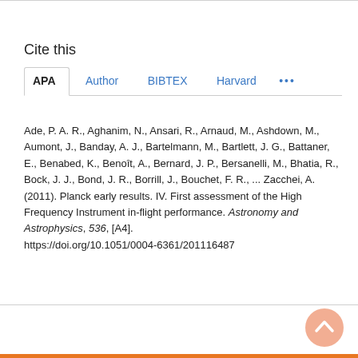Cite this
APA  Author  BIBTEX  Harvard  ...
Ade, P. A. R., Aghanim, N., Ansari, R., Arnaud, M., Ashdown, M., Aumont, J., Banday, A. J., Bartelmann, M., Bartlett, J. G., Battaner, E., Benabed, K., Benoît, A., Bernard, J. P., Bersanelli, M., Bhatia, R., Bock, J. J., Bond, J. R., Borrill, J., Bouchet, F. R., ... Zacchei, A. (2011). Planck early results. IV. First assessment of the High Frequency Instrument in-flight performance. Astronomy and Astrophysics, 536, [A4]. https://doi.org/10.1051/0004-6361/201116487